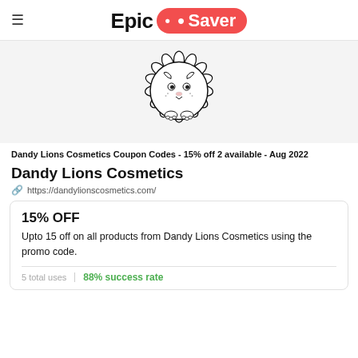Epic Saver
[Figure (illustration): Dandy Lions Cosmetics brand logo: a cute cartoon lion with a large sunflower petal mane, drawn in black and white line art style, inside a circular border]
Dandy Lions Cosmetics Coupon Codes - 15% off 2 available - Aug 2022
Dandy Lions Cosmetics
https://dandylionscosmetics.com/
15% OFF
Upto 15 off on all products from Dandy Lions Cosmetics using the promo code.
5 total uses
88% success rate